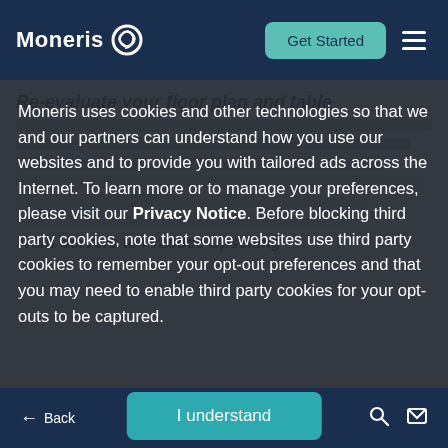Moneris — Get Started
Re-evaluate your floor plan and table — Moneris uses cookies and other technologies so that we and our partners can understand how you use our websites and to provide you with tailored ads across the Internet. To learn more or to manage your preferences, please visit our Privacy Notice. Before blocking third party cookies, note that some websites use third party cookies to remember your opt-out preferences and that you may need to enable third party cookies for your opt-outs to be captured.
Train Servers to Practice Upselling
Back | I understand